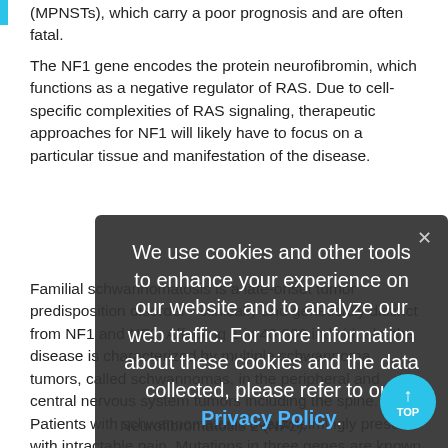(MPNSTs), which carry a poor prognosis and are often fatal.
The NF1 gene encodes the protein neurofibromin, which functions as a negative regulator of RAS. Due to cell-specific complexities of RAS signaling, therapeutic approaches for NF1 will likely have to focus on a particular tissue and manifestation of the disease.
Familial schwannomatosis is a late-onset tumor predisposition disorder - clinically and genetically distinct from NF1 and NF2. Affecting 1 in 40,000 individuals, the disease is characterized by multiple schwannoma tumors, called schwannomas, in the peripheral and central nervous system tumors including the spine. Patients with schwannomatosis overwhelmingly present with intractable pain. Mutations in three genes are known to be involved in schwannomatosis:
We use cookies and other tools to enhance your experience on our website and to analyze our web traffic. For more information about these cookies and the data collected, please refer to our Privacy Policy.
Neurofibromatosis 2 (NF2):